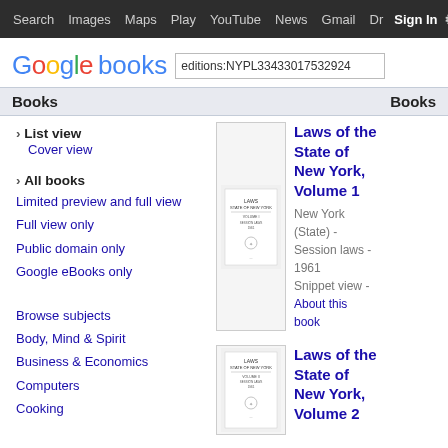Search  Images  Maps  Play  YouTube  News  Gmail  Drive  More  Sign in  ⚙
[Figure (logo): Google books logo with search box showing editions:NYPL33433017532924]
Books  Books
› List view
Cover view
› All books
Limited preview and full view
Full view only
Public domain only
Google eBooks only
Browse subjects
Body, Mind & Spirit
Business & Economics
Computers
Cooking
[Figure (illustration): Book thumbnail for Laws of the State of New York Volume 1]
Laws of the State of New York, Volume 1
New York (State) - Session laws - 1961  Snippet view - About this book
[Figure (illustration): Book thumbnail for Laws of the State of New York Volume 2]
Laws of the State of New York, Volume 2